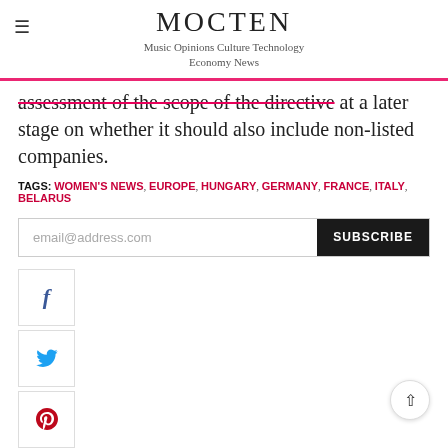MOCTEN
Music Opinions Culture Technology Economy News
assessment of the scope of the directive at a later stage on whether it should also include non-listed companies.
TAGS: WOMEN'S NEWS, EUROPE, HUNGARY, GERMANY, FRANCE, ITALY, BELARUS